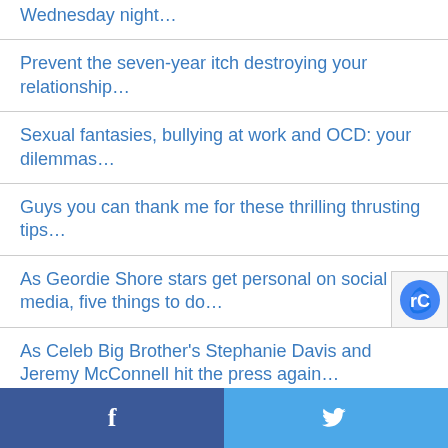Wednesday night…
Prevent the seven-year itch destroying your relationship…
Sexual fantasies, bullying at work and OCD: your dilemmas…
Guys you can thank me for these thrilling thrusting tips…
As Geordie Shore stars get personal on social media, five things to do…
As Celeb Big Brother's Stephanie Davis and Jeremy McConnell hit the press again…
f  🐦